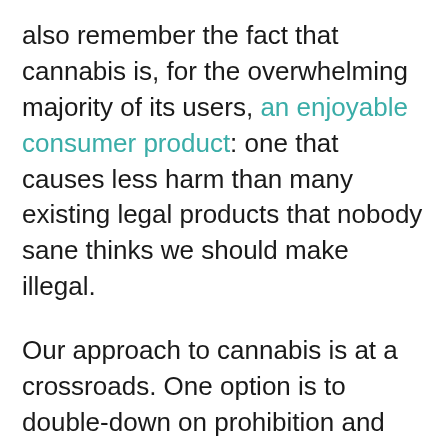also remember the fact that cannabis is, for the overwhelming majority of its users, an enjoyable consumer product: one that causes less harm than many existing legal products that nobody sane thinks we should make illegal.
Our approach to cannabis is at a crossroads. One option is to double-down on prohibition and fully enforce our current laws: which Peter Hitchens happily admits are "in some ways tougher than Singapore's" on paper. Or we could go back to the drawing board and agree on a set of goals – minimise underage use, do as best for people with mental health problems as possible,